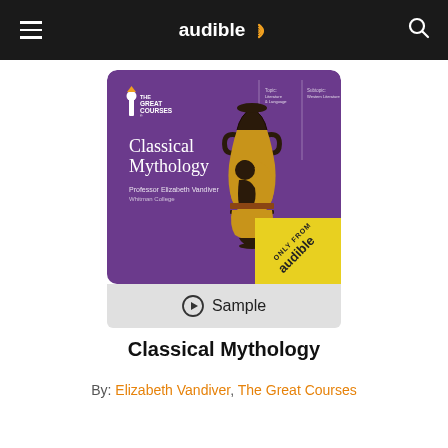audible
[Figure (illustration): Book cover for Classical Mythology from The Great Courses, featuring a purple background with a Greek black-figure amphora vase depicting a profile portrait, with 'ONLY FROM audible' badge in yellow. Authored by Professor Elizabeth Vandiver, Whitman College.]
▶ Sample
Classical Mythology
By: Elizabeth Vandiver, The Great Courses